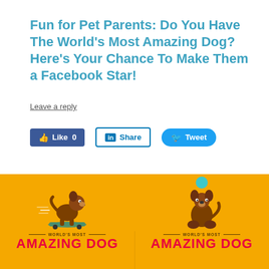Fun for Pet Parents: Do You Have The World’s Most Amazing Dog? Here’s Your Chance To Make Them a Facebook Star!
Leave a reply
[Figure (infographic): Social sharing buttons: Facebook Like 0, LinkedIn Share, and Twitter Tweet]
[Figure (infographic): Yellow background infographic showing two panels each with a cartoon brown dog and text reading WORLD'S MOST AMAZING DOG in red letters on a golden yellow background. Left panel shows dog on skateboard, right panel shows dog balancing a teal ball on its nose.]